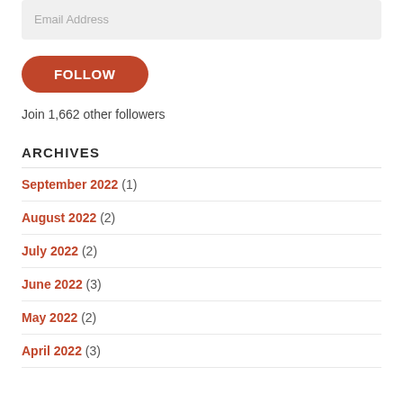Email Address
FOLLOW
Join 1,662 other followers
ARCHIVES
September 2022 (1)
August 2022 (2)
July 2022 (2)
June 2022 (3)
May 2022 (2)
April 2022 (3)